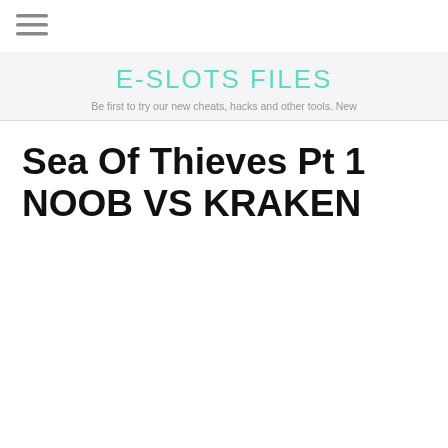[Figure (other): Hamburger menu icon with three horizontal lines]
E-SLOTS FILES
Be first to try our new cheats, hacks and other tools. New
Sea Of Thieves Pt 1 NOOB VS KRAKEN